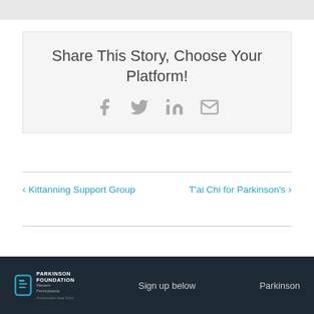[Figure (other): Gray banner bar at the top of the page]
Share This Story, Choose Your Platform!
[Figure (infographic): Social sharing icons: Facebook, Twitter, LinkedIn, Email]
‹ Kittanning Support Group
T'ai Chi for Parkinson's ›
Parkinson Foundation Western Pennsylvania | Sign up below | Parkinson